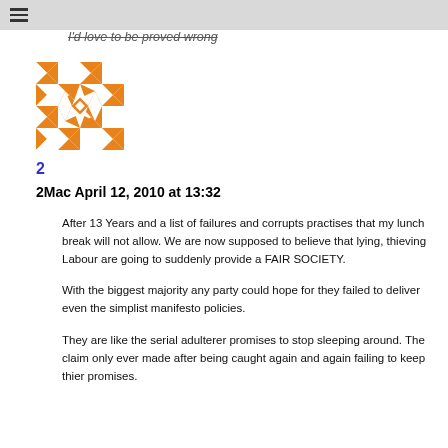≡
I'd love to be proved wrong
[Figure (illustration): Orange and white geometric quilt-pattern avatar icon]
2
2Mac April 12, 2010 at 13:32
After 13 Years and a list of failures and corrupts practises that my lunch break will not allow. We are now supposed to believe that lying, thieving Labour are going to suddenly provide a FAIR SOCIETY.

With the biggest majority any party could hope for they failed to deliver even the simplist manifesto policies.

They are like the serial adulterer promises to stop sleeping around. The claim only ever made after being caught again and again failing to keep thier promises.